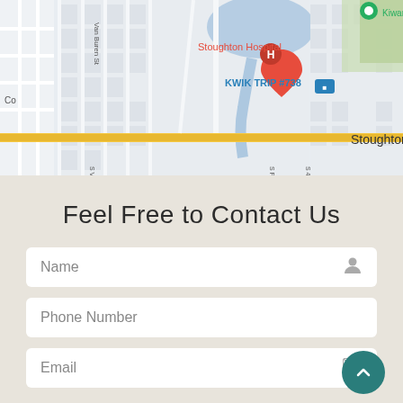[Figure (map): Google Maps screenshot showing Stoughton, WI area with markers for Stoughton Hospital (red H marker), KWIK TRIP #738 (blue store marker), and Kiwanis Disc (green location pin). Roads include Van Buren St and a yellow highway running east-west.]
Feel Free to Contact Us
Name
Phone Number
Email